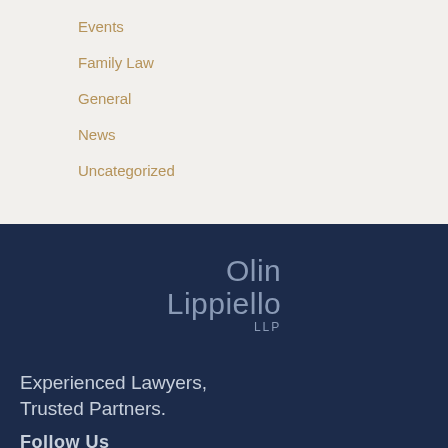Events
Family Law
General
News
Uncategorized
[Figure (logo): Olin Lippiello LLP law firm logo in muted steel-blue text on dark navy background]
Experienced Lawyers, Trusted Partners.
Follow Us